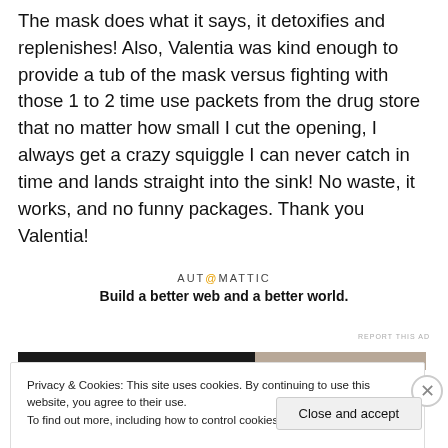The mask does what it says, it detoxifies and replenishes! Also, Valentia was kind enough to provide a tub of the mask versus fighting with those 1 to 2 time use packets from the drug store that no matter how small I cut the opening, I always get a crazy squiggle I can never catch in time and lands straight into the sink! No waste, it works, and no funny packages. Thank you Valentia!
[Figure (advertisement): Automattic advertisement: 'Build a better web and a better world.']
REPORT THIS AD
Privacy & Cookies: This site uses cookies. By continuing to use this website, you agree to their use.
To find out more, including how to control cookies, see here: Cookie Policy